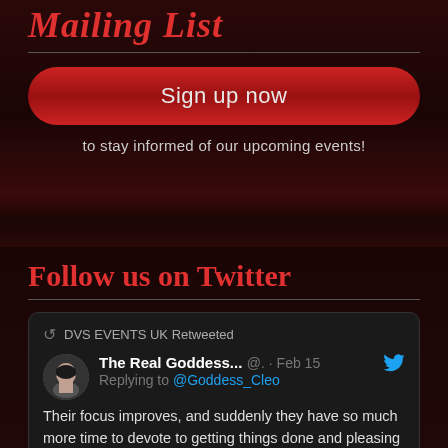Mailing List
Sign up now
to stay informed of our upcoming events!
Follow us on Twitter
DVS EVENTS UK Retweeted
The Real Goddess... @. · Feb 15
Replying to @Goddess_Cleo
Their focus improves, and suddenly they have so much more time to devote to getting things done and pleasing their FemDoms…
[Figure (photo): Partial photo of a person with dark hair, cropped at head/hair level]